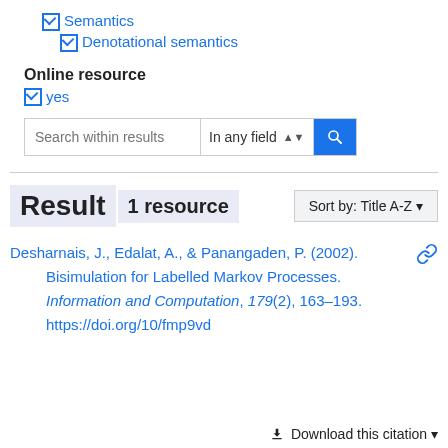☑ Semantics
☑ Denotational semantics
Online resource
☑ yes
Search within results | In any field
Result  1 resource   Sort by: Title A-Z
Desharnais, J., Edalat, A., & Panangaden, P. (2002). Bisimulation for Labelled Markov Processes. Information and Computation, 179(2), 163–193. https://doi.org/10/fmp9vd
Download this citation